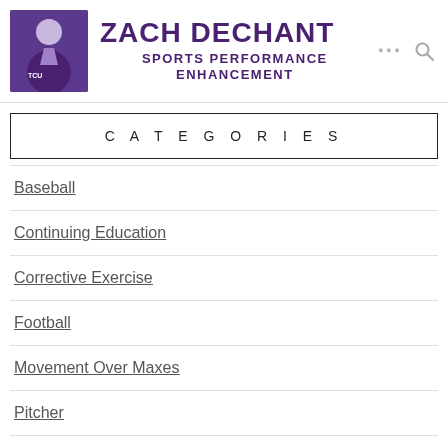[Figure (photo): Photo of Zach Dechant in purple TCU sports jacket, with name ZACH DECHANT and subtitle SPORTS PERFORMANCE ENHANCEMENT in purple text, and navigation icons (ellipsis and search) on the right]
CATEGORIES
Baseball
Continuing Education
Corrective Exercise
Football
Movement Over Maxes
Pitcher
Position